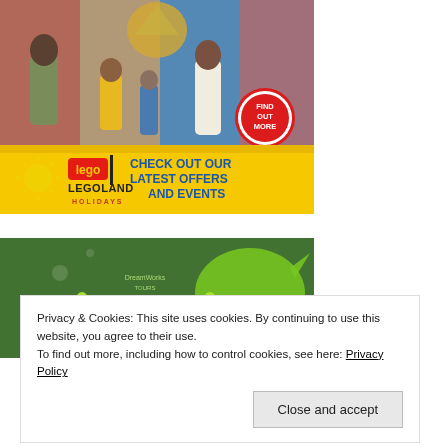[Figure (photo): LEGOLAND Holidays advertisement banner showing a family (adults and children) viewing colorful artwork/display at Legoland park. Yellow bottom section with LEGO logo, LEGOLAND HOLIDAYS text, and 'CHECK OUT OUR LATEST OFFERS AND EVENTS' in blue text. Red/white 'FIND OUT MORE' circular badge.]
[Figure (photo): DreamWorks Tours Shrek's Adventure advertisement banner on green background with slime splash graphic and Shrek's logo.]
Privacy & Cookies: This site uses cookies. By continuing to use this website, you agree to their use.
To find out more, including how to control cookies, see here: Privacy Policy
Close and accept